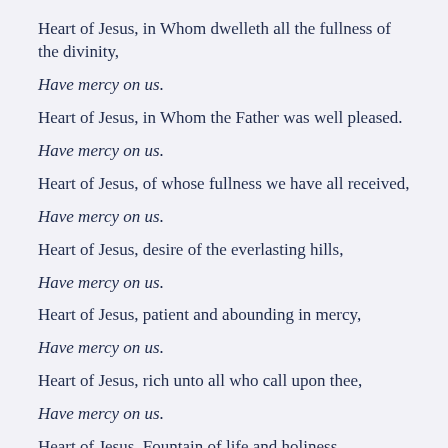Heart of Jesus, in Whom dwelleth all the fullness of the divinity,
Have mercy on us.
Heart of Jesus, in Whom the Father was well pleased.
Have mercy on us.
Heart of Jesus, of whose fullness we have all received,
Have mercy on us.
Heart of Jesus, desire of the everlasting hills,
Have mercy on us.
Heart of Jesus, patient and abounding in mercy,
Have mercy on us.
Heart of Jesus, rich unto all who call upon thee,
Have mercy on us.
Heart of Jesus, Fountain of life and holiness,
Have mercy on us.
Heart of Jesus, Propitiation for our sins,